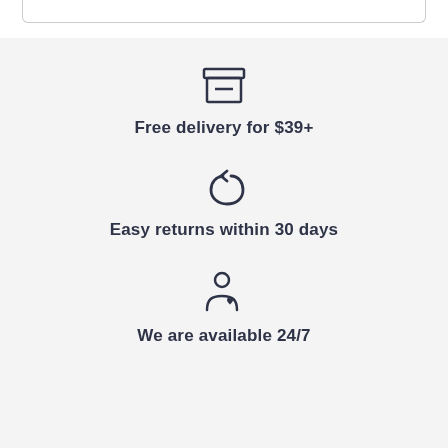[Figure (illustration): Bottom edge of a card or input field with rounded bottom corners and a light gray border]
Free delivery for $39+
Easy returns within 30 days
We are available 24/7